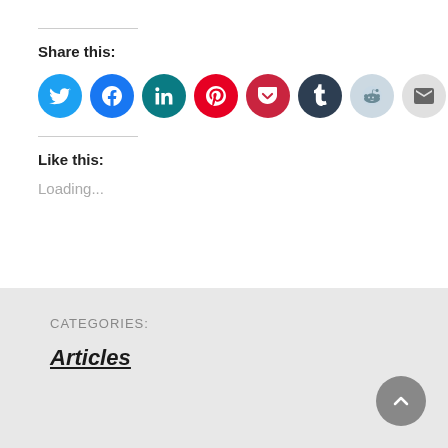Share this:
[Figure (illustration): Row of 9 social sharing icon circles: Twitter (cyan), Facebook (blue), LinkedIn (dark teal), Pinterest (red), Pocket (dark red), Tumblr (dark navy), Reddit (light blue), Email (light gray), Print (light gray)]
Like this:
Loading...
CATEGORIES:
Articles